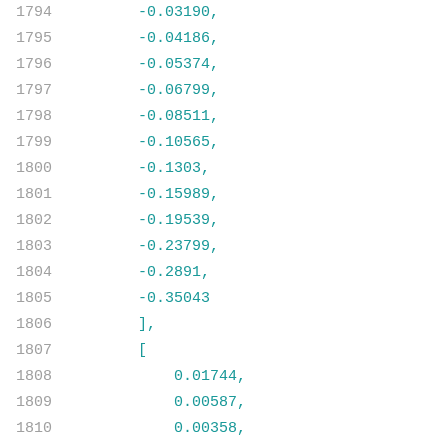1794    -0.03190,
1795    -0.04186,
1796    -0.05374,
1797    -0.06799,
1798    -0.08511,
1799    -0.10565,
1800    -0.1303,
1801    -0.15989,
1802    -0.19539,
1803    -0.23799,
1804    -0.2891,
1805    -0.35043
1806    ],
1807    [
1808        0.01744,
1809        0.00587,
1810        0.00358,
1811        0.00085,
1812        -0.00246,
1813        -0.00642,
1814        -0.01118,
1815        -0.0169,